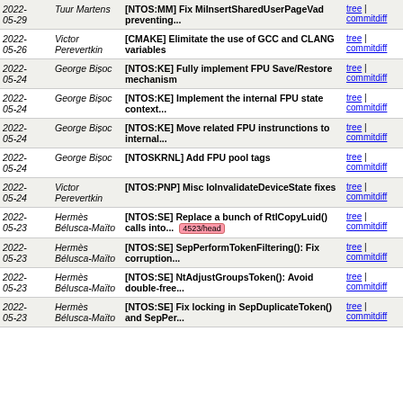| Date | Author | Message | Links |
| --- | --- | --- | --- |
| 2022-05-29 | Tuur Martens | [NTOS:MM] Fix MiInsertSharedUserPageVad preventing... | tree | commitdiff |
| 2022-05-26 | Victor Perevertkin | [CMAKE] Elimitate the use of GCC and CLANG variables | tree | commitdiff |
| 2022-05-24 | George Bișoc | [NTOS:KE] Fully implement FPU Save/Restore mechanism | tree | commitdiff |
| 2022-05-24 | George Bișoc | [NTOS:KE] Implement the internal FPU state context... | tree | commitdiff |
| 2022-05-24 | George Bișoc | [NTOS:KE] Move related FPU instrunctions to internal... | tree | commitdiff |
| 2022-05-24 | George Bișoc | [NTOSKRNL] Add FPU pool tags | tree | commitdiff |
| 2022-05-24 | Victor Perevertkin | [NTOS:PNP] Misc IoInvalidateDeviceState fixes | tree | commitdiff |
| 2022-05-23 | Hermès Bélusca-Maïto | [NTOS:SE] Replace a bunch of RtlCopyLuid() calls into... 4523/head | tree | commitdiff |
| 2022-05-23 | Hermès Bélusca-Maïto | [NTOS:SE] SepPerformTokenFiltering(): Fix corruption... | tree | commitdiff |
| 2022-05-23 | Hermès Bélusca-Maïto | [NTOS:SE] NtAdjustGroupsToken(): Avoid double-free... | tree | commitdiff |
| 2022-05-23 | Hermès Bélusca-Maïto | [NTOS:SE] Fix locking in SepDuplicateToken() and SepPer... | tree | commitdiff |